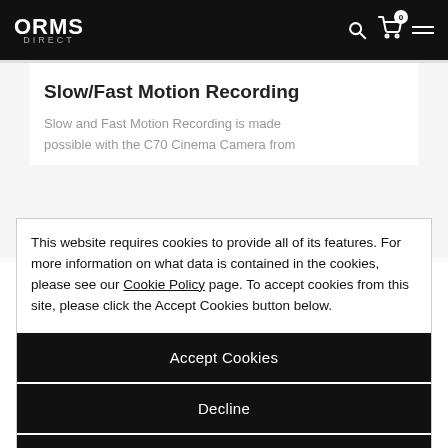ORMS DIRECT
Slow/Fast Motion Recording
Slow and Fast Motion Recording is made possible with the C70 Cinema Camera from
This website requires cookies to provide all of its features. For more information on what data is contained in the cookies, please see our Cookie Policy page. To accept cookies from this site, please click the Accept Cookies button below.
Accept Cookies
Decline
Customize Settings